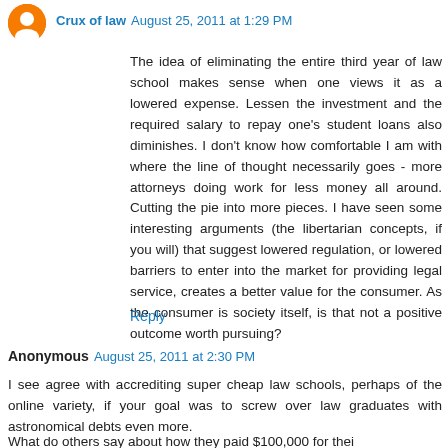Crux of law  August 25, 2011 at 1:29 PM
The idea of eliminating the entire third year of law school makes sense when one views it as a lowered expense. Lessen the investment and the required salary to repay one's student loans also diminishes. I don't know how comfortable I am with where the line of thought necessarily goes - more attorneys doing work for less money all around. Cutting the pie into more pieces. I have seen some interesting arguments (the libertarian concepts, if you will) that suggest lowered regulation, or lowered barriers to enter into the market for providing legal service, creates a better value for the consumer. As the consumer is society itself, is that not a positive outcome worth pursuing?
Reply
Anonymous  August 25, 2011 at 2:30 PM
I see agree with accrediting super cheap law schools, perhaps of the online variety, if your goal was to screw over law graduates with astronomical debts even more.
What do others say about how they paid $100,000 for thei...